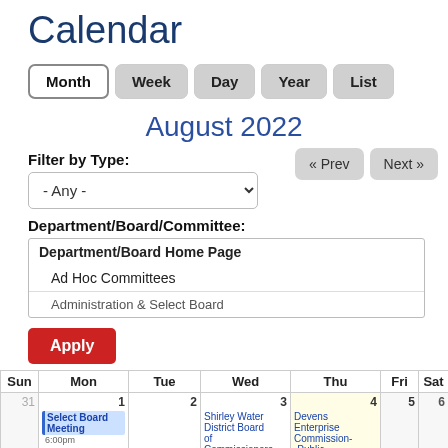Calendar
Month | Week | Day | Year | List (navigation buttons)
August 2022
Filter by Type:
- Any - (dropdown)
Department/Board/Committee:
Department/Board Home Page
Ad Hoc Committees
Administration & Select Board (partially visible)
Apply (button)
| Sun | Mon | Tue | Wed | Thu | Fri | Sat |
| --- | --- | --- | --- | --- | --- | --- |
| 31 | 1
Select Board Meeting 6:00pm
Agricultural | 2 | 3
Shirley Water District Board of Commissioners Meeting | 4
Devens Enterprise Commission--Public Hearing & | 5 | 6 |